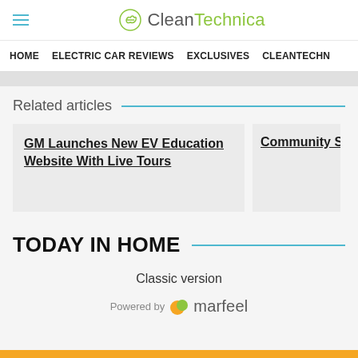CleanTechnica
HOME | ELECTRIC CAR REVIEWS | EXCLUSIVES | CLEANTECHN
Related articles
GM Launches New EV Education Website With Live Tours
Community So
TODAY IN HOME
Classic version
Powered by marfeel